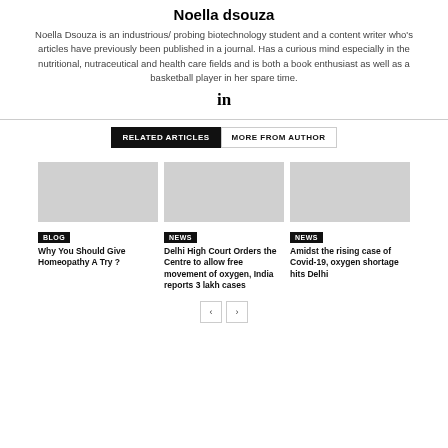Noella dsouza
Noella Dsouza is an industrious/ probing biotechnology student and a content writer who's articles have previously been published in a journal. Has a curious mind especially in the nutritional, nutraceutical and health care fields and is both a book enthusiast as well as a basketball player in her spare time.
[Figure (other): LinkedIn icon (in)]
RELATED ARTICLES | MORE FROM AUTHOR
[Figure (other): Article card image placeholder - gray rectangle for blog article about Homeopathy]
BLOG
Why You Should Give Homeopathy A Try ?
[Figure (other): Article card image placeholder - gray rectangle for news article about Delhi High Court]
NEWS
Delhi High Court Orders the Centre to allow free movement of oxygen, India reports 3 lakh cases
[Figure (other): Article card image placeholder - gray rectangle for news article about Covid-19 oxygen shortage]
NEWS
Amidst the rising case of Covid-19, oxygen shortage hits Delhi